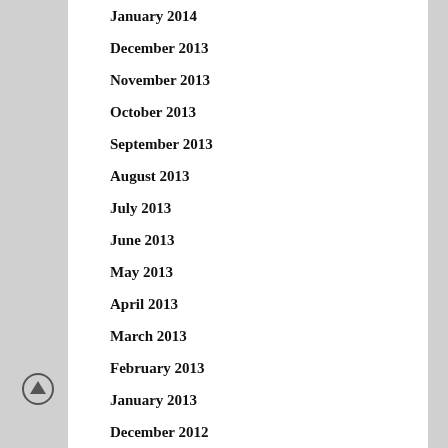January 2014
December 2013
November 2013
October 2013
September 2013
August 2013
July 2013
June 2013
May 2013
April 2013
March 2013
February 2013
January 2013
December 2012
November 2012
October 2012
September 2012
August 2012
July 2012
June 2012
May 2012